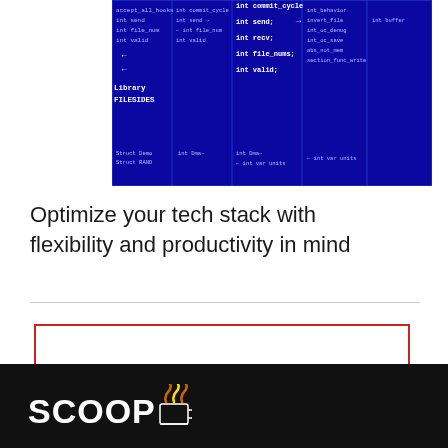[Figure (screenshot): A blue-toned code/blueprint screenshot showing C structs and code definitions with white text on dark blue background. Visible code includes 'int commit_cycle', 'int send', 'int recv', 'int file_nums', 'int valid', 'Library FILESIDES', struct definitions and other programming constructs.]
Optimize your tech stack with flexibility and productivity in mind
[Figure (other): Empty red-bordered rectangle (input or ad placeholder box)]
SCOOP (with steam icon)